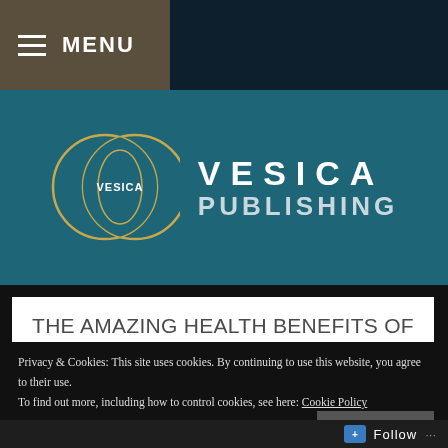≡ MENU
[Figure (logo): Vesica Publishing logo: two overlapping circles (vesica piscis) in gold outline with teal fill and the word VESICA in the center, alongside bold white text reading VESICA PUBLISHING]
THE AMAZING HEALTH BENEFITS OF JUST GOING BAREFOOT IN THE PARK
Privacy & Cookies: This site uses cookies. By continuing to use this website, you agree to their use. To find out more, including how to control cookies, see here: Cookie Policy
Close and accept
Follow